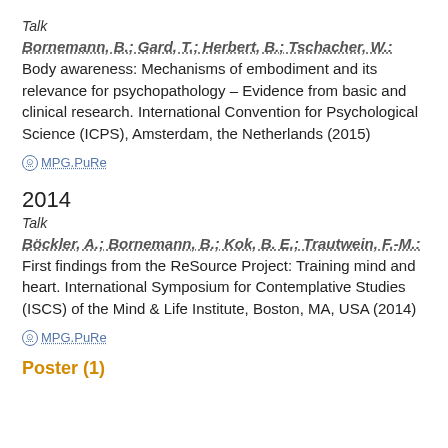Talk
Bornemann, B.; Gard, T.; Herbert, B.; Tschacher, W.: Body awareness: Mechanisms of embodiment and its relevance for psychopathology – Evidence from basic and clinical research. International Convention for Psychological Science (ICPS), Amsterdam, the Netherlands (2015)
MPG.PuRe
2014
Talk
Böckler, A.; Bornemann, B.; Kok, B. E.; Trautwein, F.-M.: First findings from the ReSource Project: Training mind and heart. International Symposium for Contemplative Studies (ISCS) of the Mind & Life Institute, Boston, MA, USA (2014)
MPG.PuRe
Poster (1)